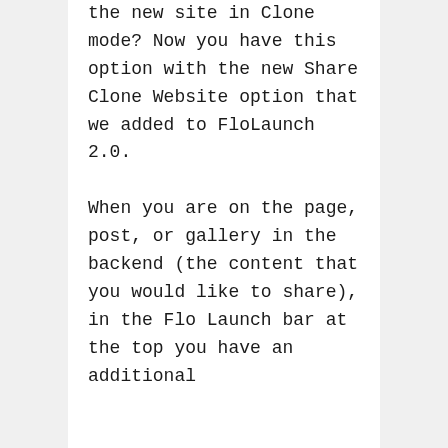the new site in Clone mode? Now you have this option with the new Share Clone Website option that we added to FloLaunch 2.0.
When you are on the page, post, or gallery in the backend (the content that you would like to share), in the Flo Launch bar at the top you have an additional